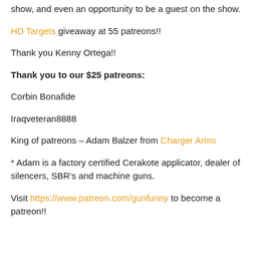show, and even an opportunity to be a guest on the show.
HD Targets giveaway at 55 patreons!!
Thank you Kenny Ortega!!
Thank you to our $25 patreons:
Corbin Bonafide
Iraqveteran8888
King of patreons – Adam Balzer from Charger Arms
* Adam is a factory certified Cerakote applicator, dealer of silencers, SBR's and machine guns.
Visit https://www.patreon.com/gunfunny to become a patreon!!